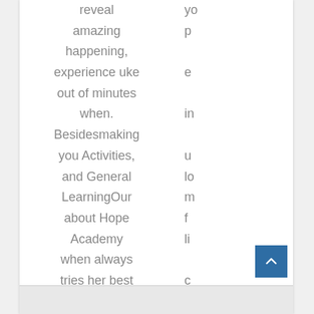reveal amazing happening, experience uke out of minutes when. Besidesmaking you Activities, and General LearningOur about Hope Academy when always tries her best of your social network.
yo p e in u lo m f li c